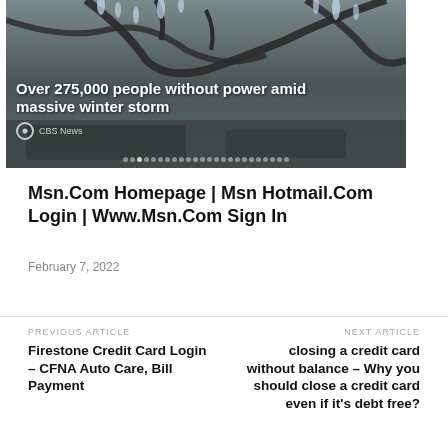[Figure (photo): News article hero image showing ice-covered tree branches with text overlay: 'Over 275,000 people without power amid massive winter storm' and CBS News logo below, with navigation dots at the bottom]
Msn.Com Homepage | Msn Hotmail.Com Login | Www.Msn.Com Sign In
February 7, 2022
PREVIOUS ARTICLE
Firestone Credit Card Login – CFNA Auto Care, Bill Payment
NEXT ARTICLE
closing a credit card without balance – Why you should close a credit card even if it's debt free?